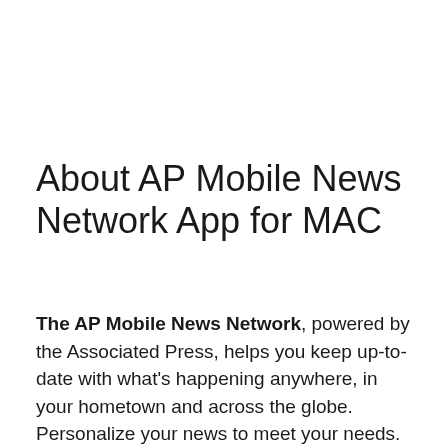About AP Mobile News Network App for MAC
The AP Mobile News Network, powered by the Associated Press, helps you keep up-to-date with what's happening anywhere, in your hometown and across the globe. Personalize your news to meet your needs. Choose from entertainment, sports, election coverage and finance—all the news is at your fingertips. The Mobile News Network is the most comprehensive news offering